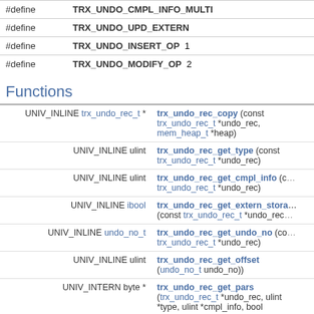| #define | TRX_UNDO_CMPL_INFO_MULTI |
| #define | TRX_UNDO_UPD_EXTERN |
| #define | TRX_UNDO_INSERT_OP   1 |
| #define | TRX_UNDO_MODIFY_OP   2 |
Functions
| UNIV_INLINE trx_undo_rec_t * | trx_undo_rec_copy (const trx_undo_rec_t *undo_rec, mem_heap_t *heap) |
| UNIV_INLINE ulint | trx_undo_rec_get_type (const trx_undo_rec_t *undo_rec) |
| UNIV_INLINE ulint | trx_undo_rec_get_cmpl_info (co... trx_undo_rec_t *undo_rec) |
| UNIV_INLINE ibool | trx_undo_rec_get_extern_stora... (const trx_undo_rec_t *undo_rec) |
| UNIV_INLINE undo_no_t | trx_undo_rec_get_undo_no (co... trx_undo_rec_t *undo_rec) |
| UNIV_INLINE ulint | trx_undo_rec_get_offset (undo_no_t undo_no)) |
| UNIV_INTERN byte * | trx_undo_rec_get_pars (trx_undo_rec_t *undo_rec, ulint *type, ulint *cmpl_info, bool |